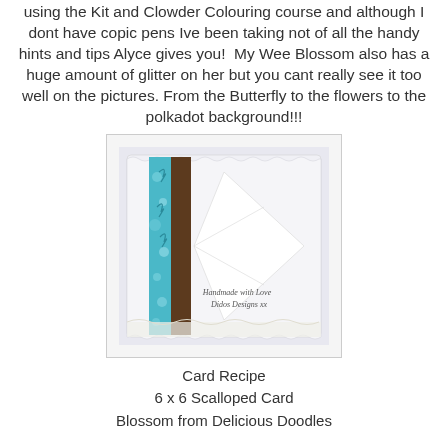using the Kit and Clowder Colouring course and although I dont have copic pens Ive been taking not of all the handy hints and tips Alyce gives you!  My Wee Blossom also has a huge amount of glitter on her but you cant really see it too well on the pictures. From the Butterfly to the flowers to the polkadot background!!!
[Figure (photo): A handmade card showing a scalloped white card with a brown vertical stripe and a teal/blue decorative patterned strip. A white diamond/envelope shape is layered on top. Text reads 'Handmade with Love' and 'Didos Designs xx' in script at the bottom right.]
Card Recipe
6 x 6 Scalloped Card
Blossom from Delicious Doodles